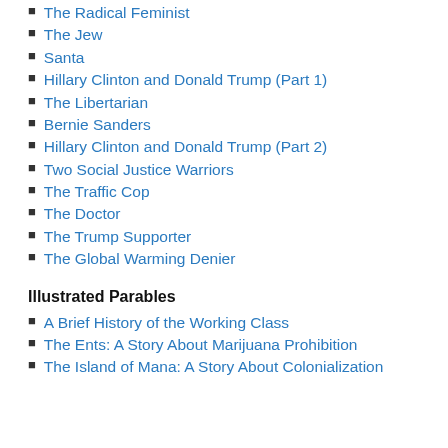The Radical Feminist
The Jew
Santa
Hillary Clinton and Donald Trump (Part 1)
The Libertarian
Bernie Sanders
Hillary Clinton and Donald Trump (Part 2)
Two Social Justice Warriors
The Traffic Cop
The Doctor
The Trump Supporter
The Global Warming Denier
Illustrated Parables
A Brief History of the Working Class
The Ents: A Story About Marijuana Prohibition
The Island of Mana: A Story About Colonialization